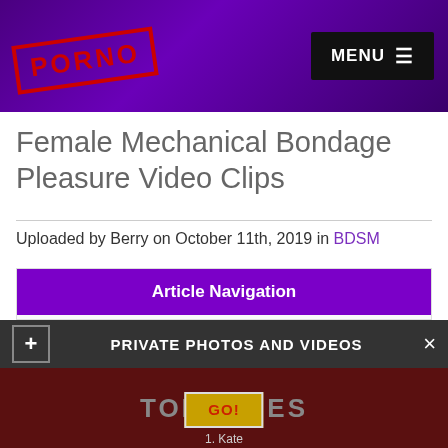PORNO | MENU
Female Mechanical Bondage Pleasure Video Clips
Uploaded by Berry on October 11th, 2019 in BDSM
Article Navigation
1. PHOTO
2. BDSM 3some With Bound Thai Submissive Inward Ropes ...
3. Whipping Porn Videos
4. More photos
5. Comments (9)
PRIVATE PHOTOS AND VIDEOS
TOPBABES
GO!
1. Kate